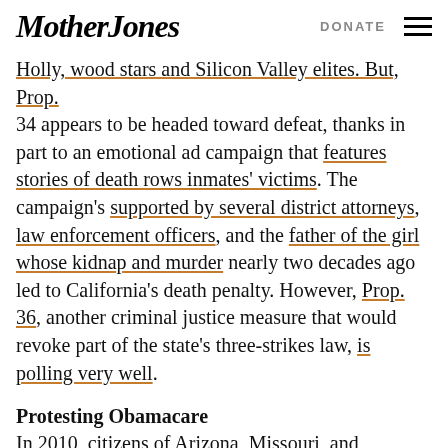Mother Jones  DONATE
Holly, wood stars and Silicon Valley elites. But, Prop. 34 appears to be headed toward defeat, thanks in part to an emotional ad campaign that features stories of death rows inmates' victims. The campaign's supported by several district attorneys, law enforcement officers, and the father of the girl whose kidnap and murder nearly two decades ago led to California's death penalty. However, Prop. 36, another criminal justice measure that would revoke part of the state's three-strikes law, is polling very well.
Protesting Obamacare
In 2010, citizens of Arizona, Missouri, and Oklahoma signaled their distaste for Obamacare by